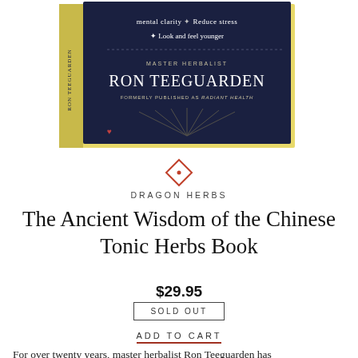[Figure (photo): Book cover of 'The Ancient Wisdom of the Chinese Tonic Herbs' by Master Herbalist Ron Teeguarden, showing dark navy cover with gold spine, partially visible text including 'mental clarity', 'Reduce stress', 'Look and feel younger', 'MASTER HERBALIST RON TEEGUARDEN', 'FORMERLY PUBLISHED AS RADIANT HEALTH']
DRAGON HERBS
The Ancient Wisdom of the Chinese Tonic Herbs Book
$29.95
SOLD OUT
ADD TO CART
For over twenty years, master herbalist Ron Teeguarden has